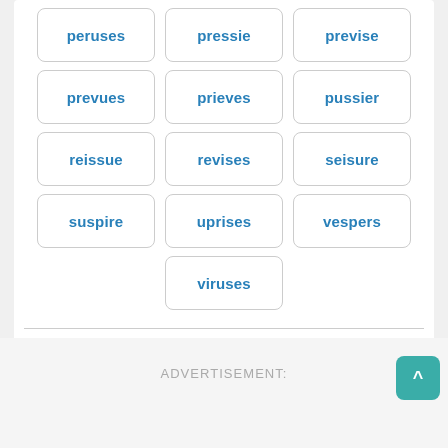peruses
pressie
previse
prevues
prieves
pussier
reissue
revises
seisure
suspire
uprises
vespers
viruses
16 words found
ADVERTISEMENT: